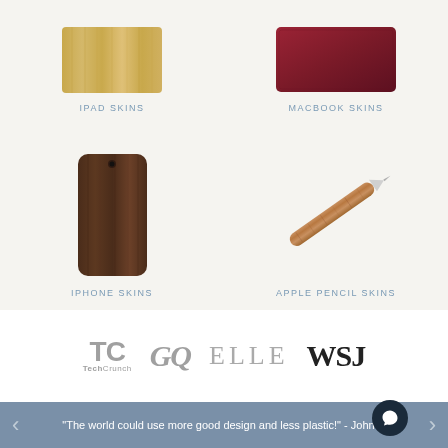[Figure (photo): iPad skin product photo - wooden textured tablet back]
IPAD SKINS
[Figure (photo): MacBook skin product photo - dark red/burgundy laptop cover]
MACBOOK SKINS
[Figure (photo): iPhone skin product photo - dark walnut wood phone case]
IPHONE SKINS
[Figure (photo): Apple Pencil skin product photo - wood-wrapped stylus]
APPLE PENCIL SKINS
[Figure (logo): Press logos: TechCrunch, GQ, ELLE, WSJ]
"The world could use more good design and less plastic!" - John C